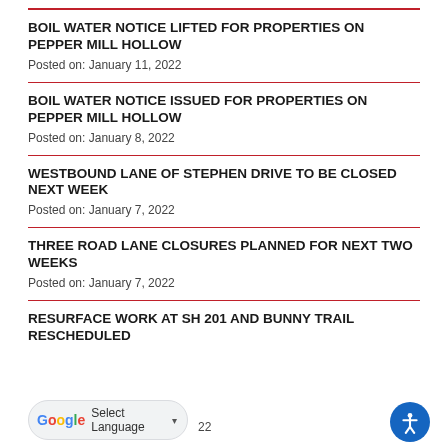BOIL WATER NOTICE LIFTED FOR PROPERTIES ON PEPPER MILL HOLLOW
Posted on: January 11, 2022
BOIL WATER NOTICE ISSUED FOR PROPERTIES ON PEPPER MILL HOLLOW
Posted on: January 8, 2022
WESTBOUND LANE OF STEPHEN DRIVE TO BE CLOSED NEXT WEEK
Posted on: January 7, 2022
THREE ROAD LANE CLOSURES PLANNED FOR NEXT TWO WEEKS
Posted on: January 7, 2022
RESURFACE WORK AT SH 201 AND BUNNY TRAIL RESCHEDULED
Posted on: January 7, 2022